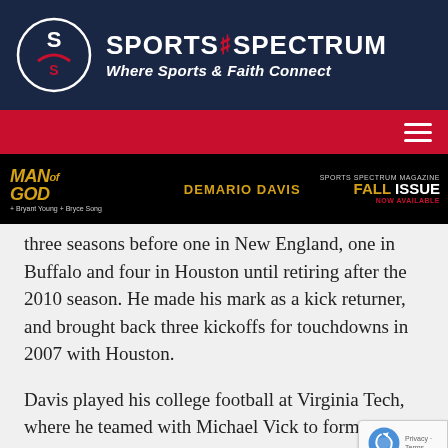SPORTS SPECTRUM — Where Sports & Faith Connect
[Figure (illustration): Sports Spectrum magazine fall issue banner ad featuring DeMario Davis and Man of God branding]
three seasons before one in New England, one in Buffalo and four in Houston until retiring after the 2010 season. He made his mark as a kick returner, and brought back three kickoffs for touchdowns in 2007 with Houston.
Davis played his college football at Virginia Tech, where he teamed with Michael Vick to form a dangerous QB-